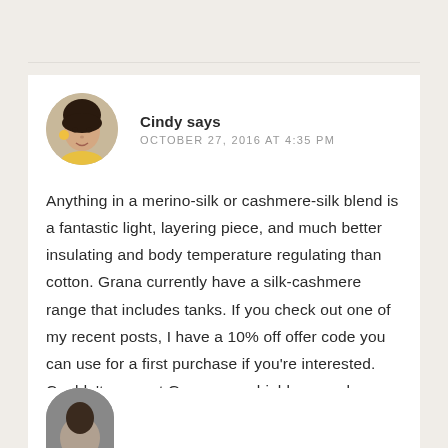[Figure (photo): Circular avatar photo of Cindy, a person with dark hair]
Cindy says
OCTOBER 27, 2016 AT 4:35 PM
Anything in a merino-silk or cashmere-silk blend is a fantastic light, layering piece, and much better insulating and body temperature regulating than cotton. Grana currently have a silk-cashmere range that includes tanks. If you check out one of my recent posts, I have a 10% off offer code you can use for a first purchase if you're interested. Couldn't suggest Grana more highly enough.
REPLY